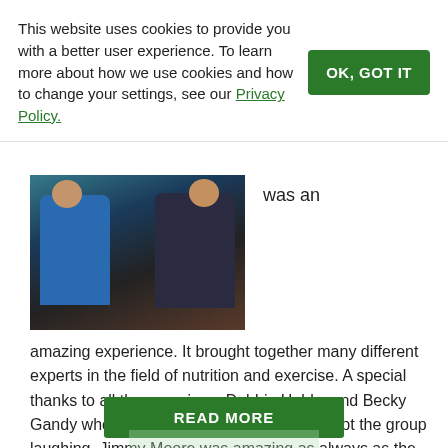This website uses cookies to provide you with a better user experience. To learn more about how we use cookies and how to change your settings, see our Privacy Policy.
[Figure (photo): Photo of three women posing together; the one on the left wears a blue dress, the one in the middle and right wear dark/black outfits.]
was an
amazing experience. It brought together many different experts in the field of nutrition and exercise. A special thanks to all the organizers Debbie Hubbs and Becky Gandy who both had a great attitude and kept the group laughing. Jimmy Moore was amazing as always as the MC, he…
READ MORE